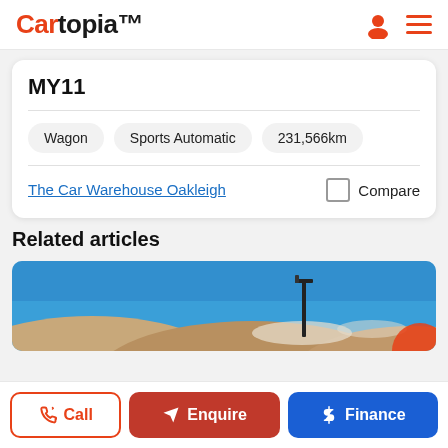Cartopia
MY11
Wagon
Sports Automatic
231,566km
The Car Warehouse Oakleigh   Compare
Related articles
[Figure (photo): Outdoor photo showing rolling desert hills under a clear blue sky with a lamp post, car listing article thumbnail]
Call  Enquire  Finance